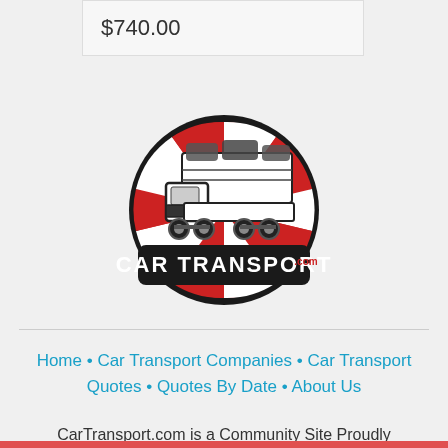$740.00
[Figure (logo): CarTransport.com logo: a circular badge with red and white radiating background, black border, a car transport truck carrying multiple vehicles in black and white illustration, and a black rounded rectangle at the bottom with white bold text reading 'CAR TRANSPORT' and '.com' in red superscript]
Home • Car Transport Companies • Car Transport Quotes • Quotes By Date • About Us
CarTransport.com is a Community Site Proudly Operated By Moving Sites, LLC.